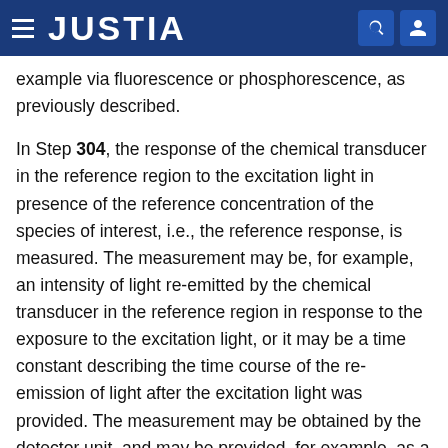JUSTIA
example via fluorescence or phosphorescence, as previously described.
In Step 304, the response of the chemical transducer in the reference region to the excitation light in presence of the reference concentration of the species of interest, i.e., the reference response, is measured. The measurement may be, for example, an intensity of light re-emitted by the chemical transducer in the reference region in response to the exposure to the excitation light, or it may be a time constant describing the time course of the re-emission of light after the excitation light was provided. The measurement may be obtained by the detector unit, and may be provided, for example, as a voltage, a current, or a digital signal.
In Step 306, a reference function that defines a relationship between the known, defined reference